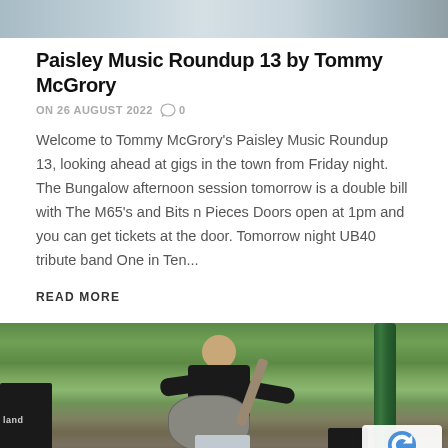[Figure (photo): Top cropped photo showing people, partially visible at the top of the page]
Paisley Music Roundup 13 by Tommy McGrory
ON 26 AUGUST 2022  0
Welcome to Tommy McGrory's Paisley Music Roundup 13, looking ahead at gigs in the town from Friday night. The Bungalow afternoon session tomorrow is a double bill with The M65's and Bits n Pieces Doors open at 1pm and you can get tickets at the door. Tomorrow night UB40 tribute band One in Ten...
READ MORE
[Figure (photo): Man in Star Wars t-shirt sitting on a bench playing a resonator guitar outdoors, with a Roland amplifier on the left and a Bose speaker on the right, green ornamental railings and garden hedges in the background]